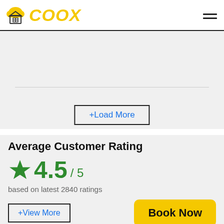COOX
+Load More
Average Customer Rating
4.5 / 5
based on latest 2840 ratings
+View More
Book Now